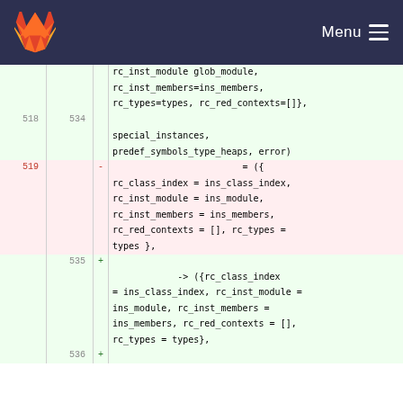GitLab Menu
[Figure (screenshot): GitLab code diff view showing lines 518-536. Lines 518/534 show context with rc_inst_module glob_module, rc_inst_members=ins_members, rc_types=types, rc_red_contexts=[] followed by special_instances, predef_symbols_type_heaps, error). Line 519 (removed, red) shows = ({ rc_class_index = ins_class_index, rc_inst_module = ins_module, rc_inst_members = ins_members, rc_red_contexts = [], rc_types = types },. Lines 535-536 (added, green) show -> ({rc_class_index = ins_class_index, rc_inst_module = ins_module, rc_inst_members = ins_members, rc_red_contexts = [], rc_types = types},]